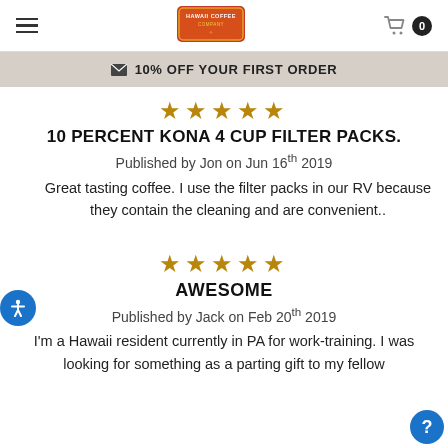Hawaii Coffee Company — navigation header with logo and cart
✉ 10% OFF YOUR FIRST ORDER
[Figure (other): Five gold stars rating]
10 PERCENT KONA 4 CUP FILTER PACKS.
Published by Jon on Jun 16th 2019
Great tasting coffee. I use the filter packs in our RV because they contain the cleaning and are convenient..
[Figure (other): Five gold stars rating]
AWESOME
Published by Jack on Feb 20th 2019
I'm a Hawaii resident currently in PA for work-training. I was looking for something as a parting gift to my fellow